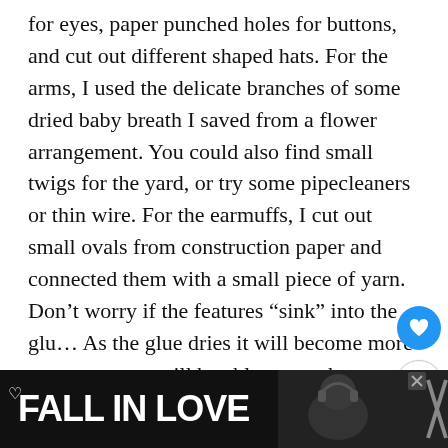for eyes, paper punched holes for buttons, and cut out different shaped hats. For the arms, I used the delicate branches of some dried baby breath I saved from a flower arrangement. You could also find small twigs for the yard, or try some pipecleaners or thin wire. For the earmuffs, I cut out small ovals from construction paper and connected them with a small piece of yarn. Don't worry if the features “sink” into the glu… As the glue dries it will become more opaque… you will be able to see the features.
[Figure (screenshot): WHAT'S NEXT arrow label with thumbnail of Coat Hanger Wreath and text 'Halloween Coat Hanger...']
[Figure (photo): Ad banner at bottom reading 'FALL IN LOVE' with dog photo and X close buttons on dark background]